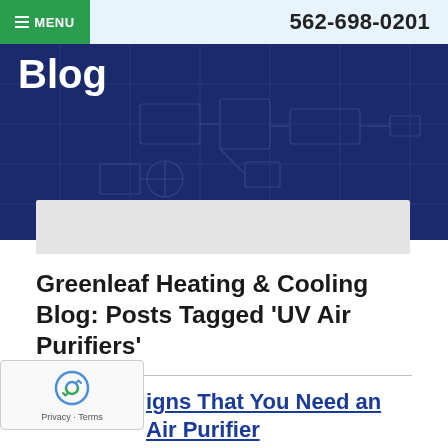MENU   562-698-0201
[Figure (illustration): Dark navy blue hero banner with 'Blog' text in white and a blueprint-style HVAC diagram overlay in the background]
Greenleaf Heating & Cooling Blog: Posts Tagged 'UV Air Purifiers'
igns That You Need an Air Purifier